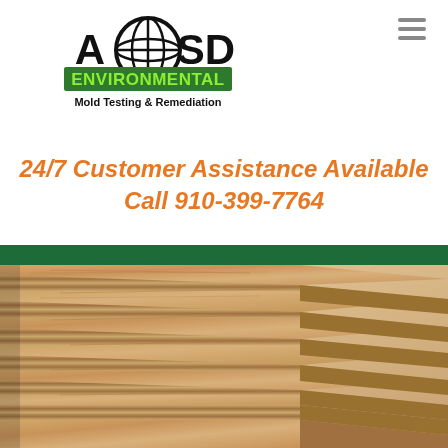[Figure (logo): ASD Environmental Mold Testing & Remediation logo with globe graphic]
24/7 Customer Assistance Available
Call 910-399-7764
[Figure (photo): Stacked wood particle board / chipboard sheets photographed from an angle showing cross-section layers]